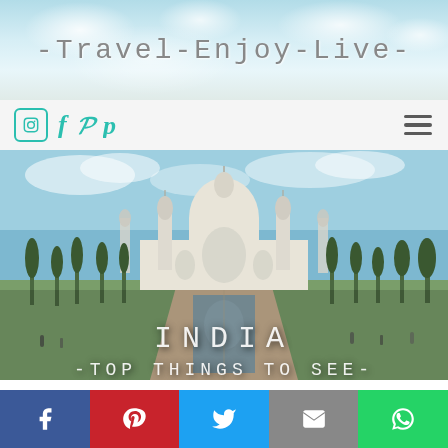-Travel-Enjoy-Live-
[Figure (screenshot): Navigation bar with Instagram, Facebook, Pinterest social icons and hamburger menu]
[Figure (photo): Photo of the Taj Mahal in Agra, India with gardens and reflecting pool. Overlaid text reads 'INDIA' and '-TOP THINGS TO SEE-']
INDIA
-TOP THINGS TO SEE-
This post about Northern India is written by our best blogger
[Figure (infographic): Social share bar with Facebook (blue), Pinterest (red), Twitter (light blue), Email (grey), WhatsApp (green) buttons]